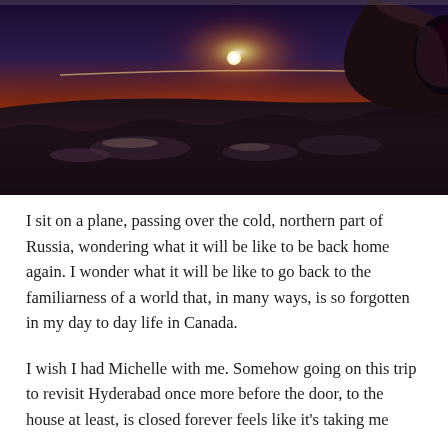[Figure (photo): Aerial view from an airplane window showing a dramatic sunset or sunrise over the Earth's curvature. The sky glows orange and red at the horizon with a bright sun, while clouds and dark landscape are visible below. An airplane engine/wing is visible on the right side.]
I sit on a plane, passing over the cold, northern part of Russia, wondering what it will be like to be back home again. I wonder what it will be like to go back to the familiarness of a world that, in many ways, is so forgotten in my day to day life in Canada.
I wish I had Michelle with me. Somehow going on this trip to revisit Hyderabad once more before the door, to the house at least, is closed forever feels like it's taking me